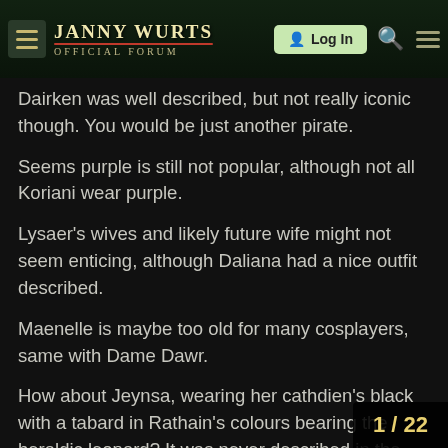Janny Wurts Official Forum — Log In
Dairken was well described, but not really iconic though. You would be just another pirate.
Seems purple is still not popular, although not all Koriani wear purple.
Lysaer's wives and likely future wife might not seem enticing, although Daliana had a nice outfit described.
Maenelle is maybe too old for many cosplayers, same with Dame Dawr.
How about Jeynsa, wearing her cathdien's black with a tabard in Rathain's colours bearing the heraldic leopard? It was never described in the books, but she could have worn it when taking her oath, or some time later... have a picture of that leopard. It would h
1 / 22